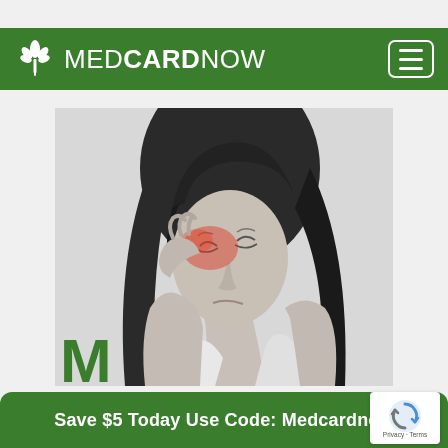MEDCARDNOW
[Figure (photo): Black and white photo of a young woman with dark hair, eyes closed, grimacing in pain, holding her hand to her temple. Red highlights appear around her temple and eye area indicating headache pain.]
M
Save $5 Today Use Code: Medcardnow